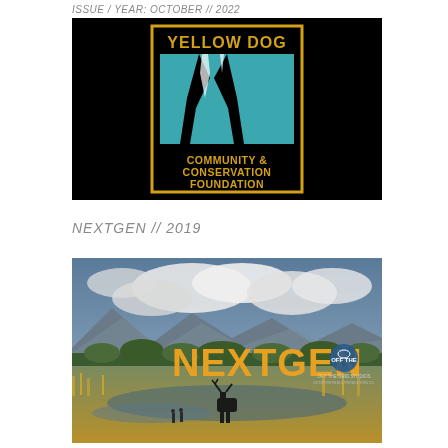ISSUE / YEAR: OCTOBER // 2022
[Figure (logo): Yellow Dog Community & Conservation Foundation logo on black background — stylized bird feet/talons in teal and white square, with text YELLOW DOG above and COMMUNITY & CONSERVATION FOUNDATION below, in gold/yellow lettering on black]
NEXTGEN // 2019
[Figure (photo): Outdoor landscape photo showing wetlands/marsh with mountains and clouds in background. Large orange text NEXTGEN with circular logo to the right. Small figures and a moose visible in the water in the foreground. Golden grass/reeds in the scene.]